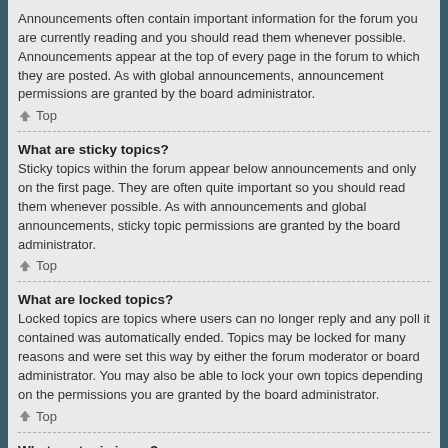Announcements often contain important information for the forum you are currently reading and you should read them whenever possible. Announcements appear at the top of every page in the forum to which they are posted. As with global announcements, announcement permissions are granted by the board administrator.
↑ Top
What are sticky topics?
Sticky topics within the forum appear below announcements and only on the first page. They are often quite important so you should read them whenever possible. As with announcements and global announcements, sticky topic permissions are granted by the board administrator.
↑ Top
What are locked topics?
Locked topics are topics where users can no longer reply and any poll it contained was automatically ended. Topics may be locked for many reasons and were set this way by either the forum moderator or board administrator. You may also be able to lock your own topics depending on the permissions you are granted by the board administrator.
↑ Top
What are topic icons?
Topic icons are author chosen images associated with posts to indicate their content. The ability to use topic icons depends on the permissions...